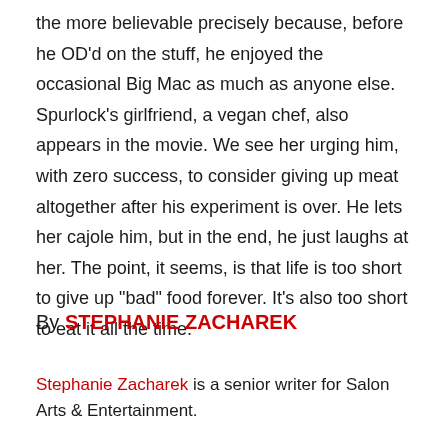the more believable precisely because, before he OD'd on the stuff, he enjoyed the occasional Big Mac as much as anyone else. Spurlock's girlfriend, a vegan chef, also appears in the movie. We see her urging him, with zero success, to consider giving up meat altogether after his experiment is over. He lets her cajole him, but in the end, he just laughs at her. The point, it seems, is that life is too short to give up "bad" food forever. It's also too short to eat it all the time.
By STEPHANIE ZACHAREK
Stephanie Zacharek is a senior writer for Salon Arts & Entertainment.